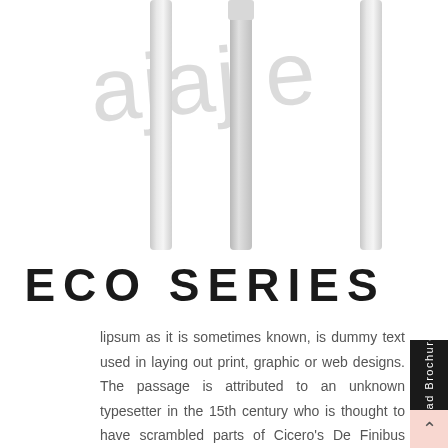[Figure (photo): Partial view of chair legs in chrome/silver finish, with a watermark text 'ajaj e' overlaid diagonally in light gray]
ECO SERIES
lipsum as it is sometimes known, is dummy text used in laying out print, graphic or web designs. The passage is attributed to an unknown typesetter in the 15th century who is thought to have scrambled parts of Cicero's De Finibus Bonorum et Malorum for use in a